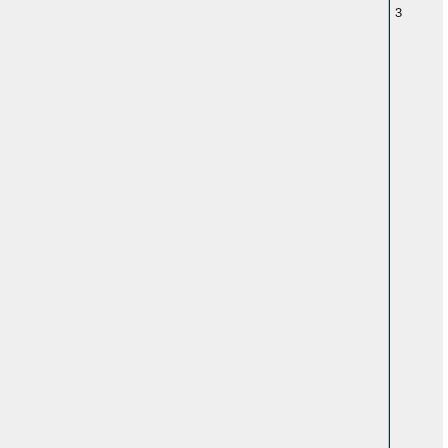|  |  | Name | Description |
| --- | --- | --- | --- |
|  | 3 | Input_Opt%ND49_FILE | The the f will c outp ND4 time diag This in bi form be r GAN may & tin YYY DD, ss a Che repl with |